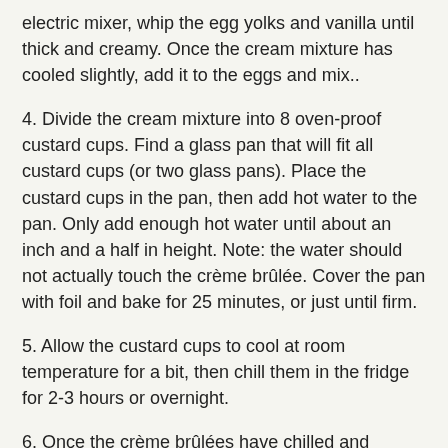electric mixer, whip the egg yolks and vanilla until thick and creamy. Once the cream mixture has cooled slightly, add it to the eggs and mix..
4. Divide the cream mixture into 8 oven-proof custard cups. Find a glass pan that will fit all custard cups (or two glass pans). Place the custard cups in the pan, then add hot water to the pan. Only add enough hot water until about an inch and a half in height. Note: the water should not actually touch the crème brûlée. Cover the pan with foil and bake for 25 minutes, or just until firm.
5. Allow the custard cups to cool at room temperature for a bit, then chill them in the fridge for 2-3 hours or overnight.
6. Once the crème brûlées have chilled and they're ready to serve, add about ½ a tablespoon sugar on top of each cup. Note: you can add more sugar if you want a crunchier custard.